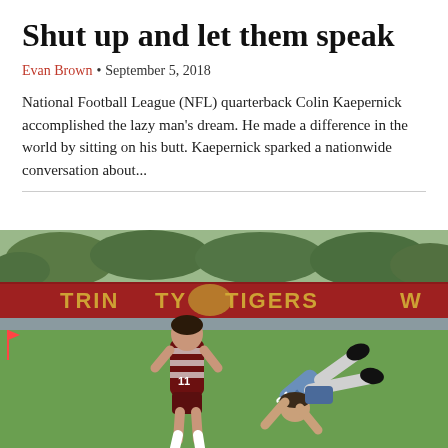Shut up and let them speak
Evan Brown • September 5, 2018
National Football League (NFL) quarterback Colin Kaepernick accomplished the lazy man's dream. He made a difference in the world by sitting on his butt. Kaepernick sparked a nationwide conversation about...
[Figure (photo): Two soccer players on a green field in front of a sign reading 'TRINITY TIGERS'. One player in a maroon/white striped jersey stands while another player in a blue jersey with number 21 is bent over.]